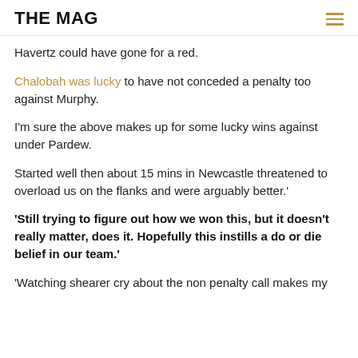THE MAG
Havertz could have gone for a red.
Chalobah was lucky to have not conceded a penalty too against Murphy.
I'm sure the above makes up for some lucky wins against under Pardew.
Started well then about 15 mins in Newcastle threatened to overload us on the flanks and were arguably better.'
'Still trying to figure out how we won this, but it doesn't really matter, does it. Hopefully this instills a do or die belief in our team.'
'Watching shearer cry about the non penalty call makes my